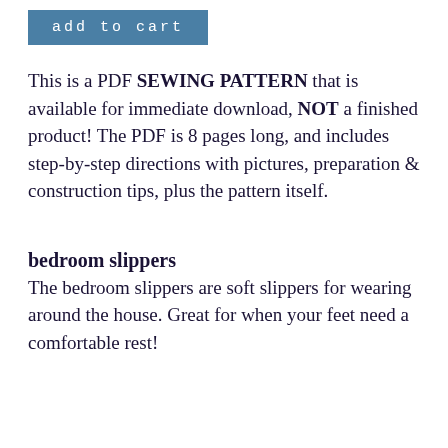[Figure (other): Blue 'add to cart' button]
This is a PDF SEWING PATTERN that is available for immediate download, NOT a finished product! The PDF is 8 pages long, and includes step-by-step directions with pictures, preparation & construction tips, plus the pattern itself.
bedroom slippers
The bedroom slippers are soft slippers for wearing around the house. Great for when your feet need a comfortable rest!